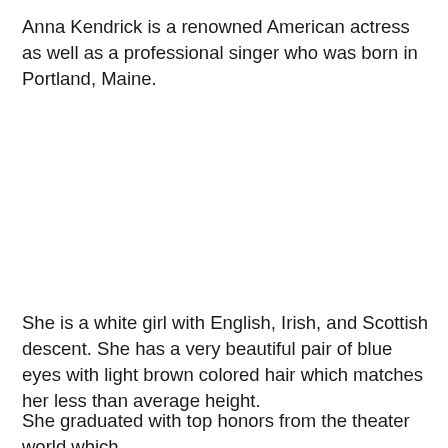Anna Kendrick is a renowned American actress as well as a professional singer who was born in Portland, Maine.
She is a white girl with English, Irish, and Scottish descent. She has a very beautiful pair of blue eyes with light brown colored hair which matches her less than average height.
She graduated with top honors from the theater world which